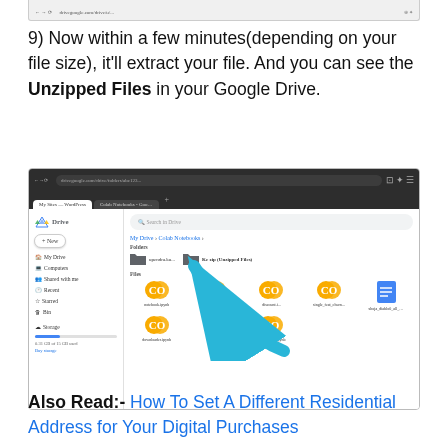[Figure (screenshot): Partial view of a browser with a previous step shown at the top]
9) Now within a few minutes(depending on your file size), it'll extract your file. And you can see the Unzipped Files in your Google Drive.
[Figure (screenshot): Screenshot of Google Drive showing extracted/unzipped files in a Colab Notebooks folder, with a large cyan arrow pointing to a folder labeled 'Ke zip (Unzipped Files)']
Also Read:- How To Set A Different Residential Address for Your Digital Purchases